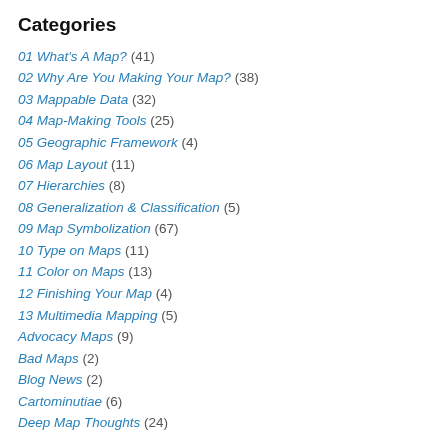Categories
01 What's A Map? (41)
02 Why Are You Making Your Map? (38)
03 Mappable Data (32)
04 Map-Making Tools (25)
05 Geographic Framework (4)
06 Map Layout (11)
07 Hierarchies (8)
08 Generalization & Classification (5)
09 Map Symbolization (67)
10 Type on Maps (11)
11 Color on Maps (13)
12 Finishing Your Map (4)
13 Multimedia Mapping (5)
Advocacy Maps (9)
Bad Maps (2)
Blog News (2)
Cartominutiae (6)
Deep Map Thoughts (24)